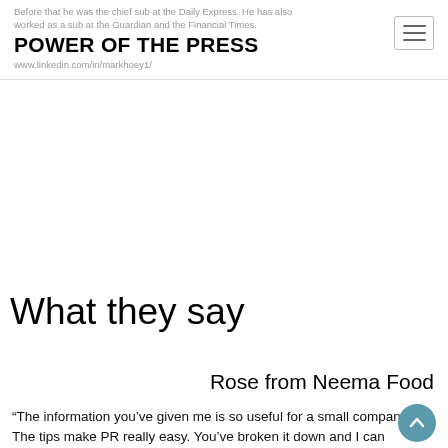Before that he was the chief sub at the Daily Express. He has also worked as a sub at the Guardian and the Financial Times. www.linkedin.com/in/markhoey1/
POWER OF THE PRESS
What they say
Rose from Neema Food
“The information you’ve given me is so useful for a small company. The tips make PR really easy. You’ve broken it down and I can